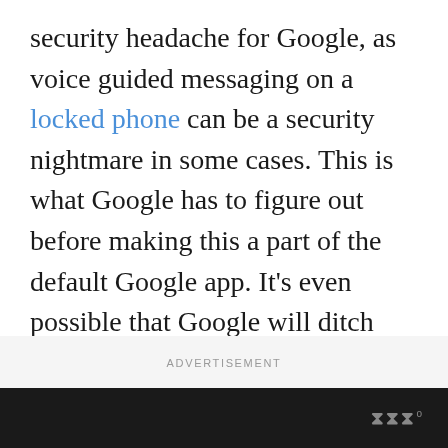security headache for Google, as voice guided messaging on a locked phone can be a security nightmare in some cases. This is what Google has to figure out before making this a part of the default Google app. It's even possible that Google will ditch this feature entirely, which is why it makes sense that this isn't on the final release.
ADVERTISEMENT